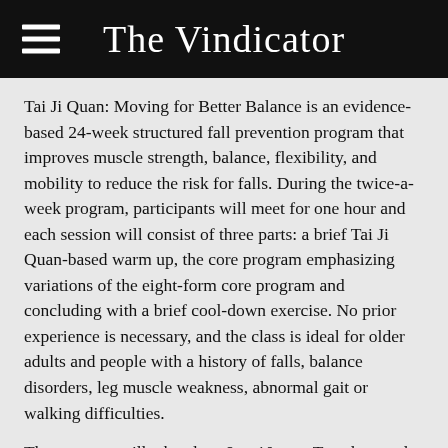The Vindicator
Tai Ji Quan: Moving for Better Balance is an evidence-based 24-week structured fall prevention program that improves muscle strength, balance, flexibility, and mobility to reduce the risk for falls. During the twice-a-week program, participants will meet for one hour and each session will consist of three parts: a brief Tai Ji Quan-based warm up, the core program emphasizing variations of the eight-form core program and concluding with a brief cool-down exercise. No prior experience is necessary, and the class is ideal for older adults and people with a history of falls, balance disorders, leg muscle weakness, abnormal gait or walking difficulties.
The program will take place 9 to 10 a.m. Tuesdays and Thursdays beginning June 7 at Mouths Park...